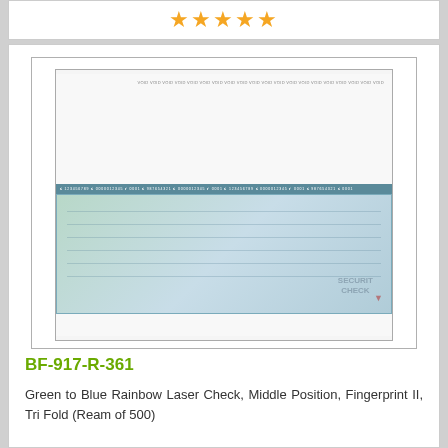[Figure (other): Five orange star rating icons displayed in a row]
[Figure (other): Product image of a laser check form showing a green to blue rainbow gradient check in the middle position on a white letter-size page with MICR encoding bar]
BF-917-R-361
Green to Blue Rainbow Laser Check, Middle Position, Fingerprint II, Tri Fold (Ream of 500)